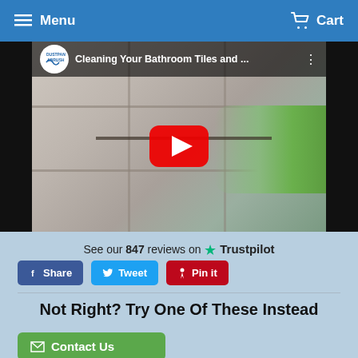Menu   Cart
[Figure (screenshot): YouTube video thumbnail showing 'Cleaning Your Bathroom Tiles and ...' from the Dustpan & Brush channel, with a red YouTube play button overlay on a bathroom tile cleaning image]
See our 847 reviews on ★ Trustpilot
Share   Tweet   Pin it
Not Right? Try One Of These Instead
✉ Contact Us